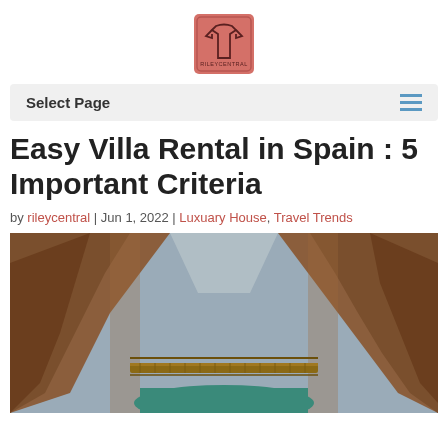[Figure (logo): Rileycentral logo: a pink/salmon square with a t-shirt icon and text RILEYCENTRAL]
Select Page
Easy Villa Rental in Spain : 5 Important Criteria
by rileycentral | Jun 1, 2022 | Luxuary House, Travel Trends
[Figure (photo): A narrow canyon gorge with orange rocky cliffs and a wooden walkway/bridge over a turquoise river below, overcast sky]